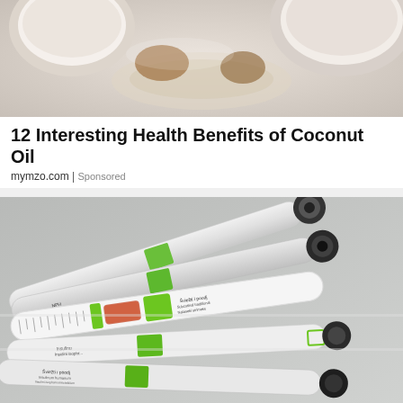[Figure (photo): Photo of coconut oil — white coconut bowls and oil on a light background]
12 Interesting Health Benefits of Coconut Oil
mymzo.com | Sponsored
[Figure (photo): Photo of multiple insulin pen injectors with green bands and black caps, arranged in a tray, labeled with text including NPH, Insulinum humanum, Insulini isophani iniectabilum, Šviežti i poodj, Subcutinal traditional, Nataseki strimeks, Insulinu, Insulini isophr, Šviežti i poodj, Insulinum humanum, Insulini isophani iniectabilum]
A New Prescription Weight Loss May Jumpstart